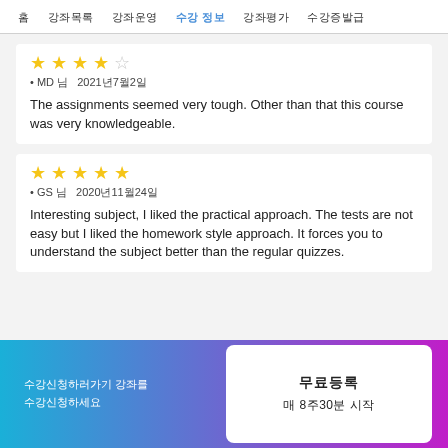홈  강좌목록  강좌운영  수강 정보  강좌평가  수강증발급
★★★★☆
• MD 님  2021년7월2일
The assignments seemed very tough. Other than that this course was very knowledgeable.
★★★★★
• GS 님  2020년11월24일
Interesting subject, I liked the practical approach. The tests are not easy but I liked the homework style approach. It forces you to understand the subject better than the regular quizzes.
수강신청하러가기 강좌를 수강신청하세요
무료등록
매 8주30분 시작